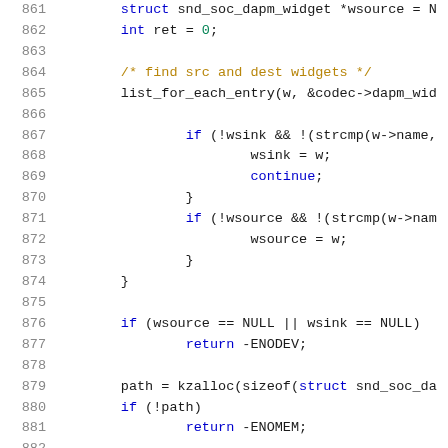[Figure (screenshot): Source code listing in C, lines 861-882, showing kernel/audio DAPM widget path initialization code with syntax highlighting. Line numbers in gray on left, keywords in blue, comments in dark yellow, control flow keywords in blue.]